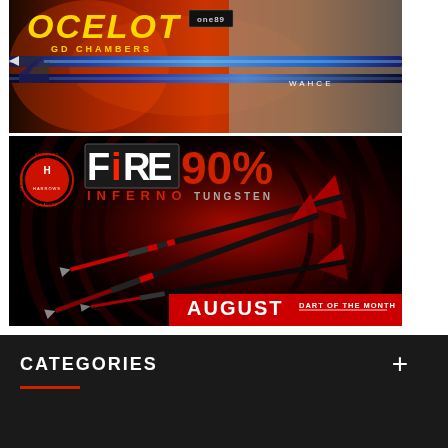[Figure (photo): Ocelot GD Chambers dart product banner with blue darts, one89 branding, and player image with fire background]
[Figure (photo): Harrows Fire Inferno 90% Tungsten dart product advertisement with red and black theme, dart of the month August banner]
CATEGORIES